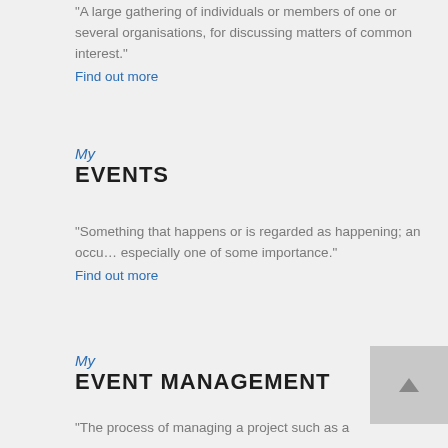"A large gathering of individuals or members of one or several organisations, for discussing matters of common interest."
Find out more
My
EVENTS
"Something that happens or is regarded as happening; an occu… especially one of some importance."
Find out more
My
EVENT MANAGEMENT
"The process of managing a project such as a